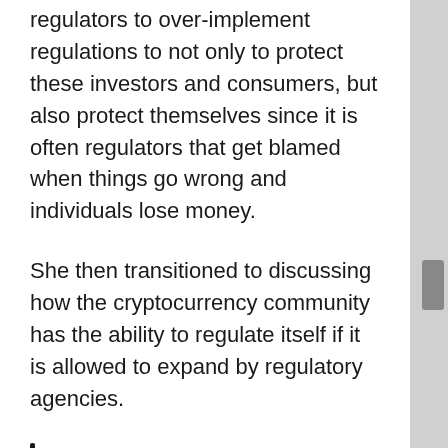regulators to over-implement regulations to not only to protect these investors and consumers, but also protect themselves since it is often regulators that get blamed when things go wrong and individuals lose money.
She then transitioned to discussing how the cryptocurrency community has the ability to regulate itself if it is allowed to expand by regulatory agencies.
“What authority do we have to require that assets underlying securities be regulated as if they were securities? Even if we had this authority, private markets can and do